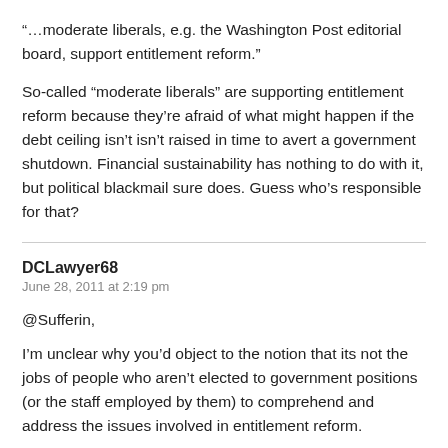“…moderate liberals, e.g. the Washington Post editorial board, support entitlement reform.”
So-called “moderate liberals” are supporting entitlement reform because they’re afraid of what might happen if the debt ceiling isn’t isn’t raised in time to avert a government shutdown. Financial sustainability has nothing to do with it, but political blackmail sure does. Guess who’s responsible for that?
DCLawyer68
June 28, 2011 at 2:19 pm
@Sufferin,
I’m unclear why you’d object to the notion that its not the jobs of people who aren’t elected to government positions (or the staff employed by them) to comprehend and address the issues involved in entitlement reform.